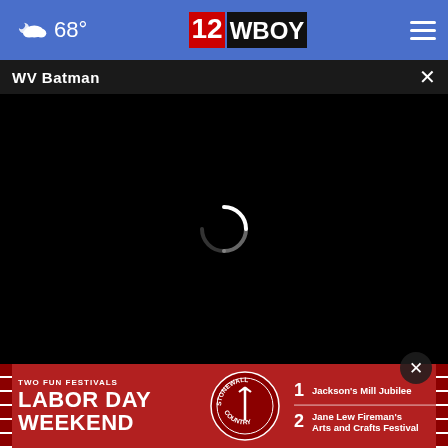68° | 12 WBOY
WV Batman
[Figure (screenshot): Video player showing black loading screen with spinning loading indicator (white circle arc)]
[Figure (photo): Partial image visible below video player showing dark scene with red banner containing phone number 304-638-8027]
[Figure (infographic): Advertisement banner: TWO FUN FESTIVALS - LABOR DAY WEEKEND - STONEWALL COUNTRY. 1. Jackson's Mill Jubilee. 2. Jane Lew Fireman's Arts and Crafts Festival]